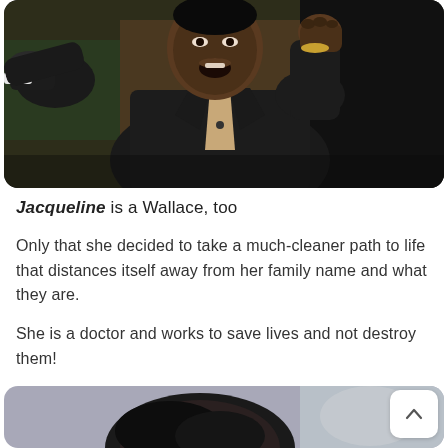[Figure (photo): A dark-skinned man in a dark suit gesturing with his right hand pointing and left hand in a fist, appearing to speak forcefully in a dimly lit room with a green/brown background]
Jacqueline is a Wallace, too
Only that she decided to take a much-cleaner path to life that distances itself away from her family name and what they are.
She is a doctor and works to save lives and not destroy them!
[Figure (photo): Partial view of a person's head with dark hair, cropped at the bottom of the page]